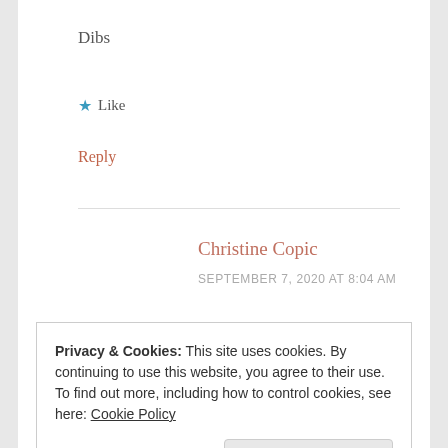Dibs
★ Like
Reply
Christine Copic
SEPTEMBER 7, 2020 AT 8:04 AM
Privacy & Cookies: This site uses cookies. By continuing to use this website, you agree to their use.
To find out more, including how to control cookies, see here: Cookie Policy
Close and accept